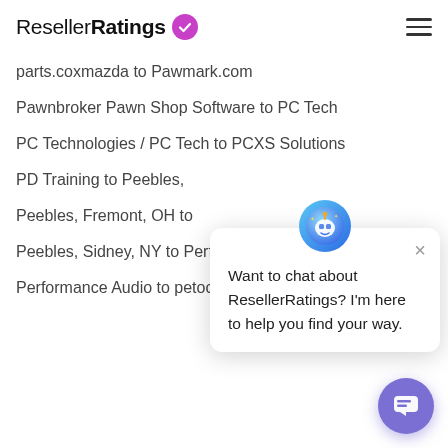ResellerRatings
parts.coxmazda to Pawmark.com
Pawnbroker Pawn Shop Software to PC Tech
PC Technologies / PC Tech to PCXS Solutions
PD Training to Peebles,
Peebles, Fremont, OH to
Peebles, Sidney, NY to Performance Armour
Performance Audio to petocart.com
Want to chat about ResellerRatings? I'm here to help you find your way.